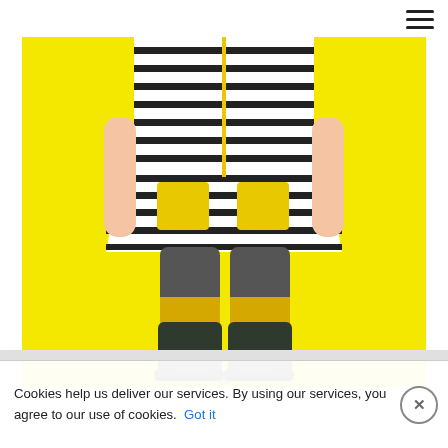[Figure (photo): A person from torso down wearing a black and white horizontal striped dress with yellow pockets, dark grey tights, and dark green/yellow rubber rain boots, standing against a bright yellow background.]
Cookies help us deliver our services. By using our services, you agree to our use of cookies.  Got it